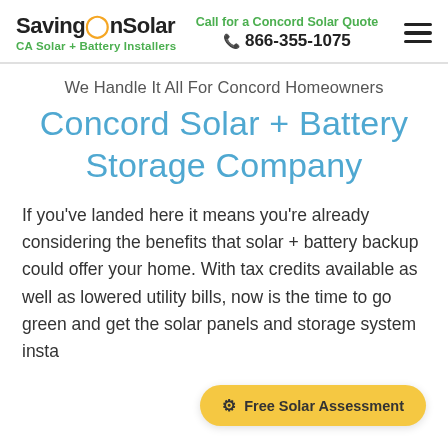SavingOnSolar — CA Solar + Battery Installers | Call for a Concord Solar Quote 866-355-1075
We Handle It All For Concord Homeowners
Concord Solar + Battery Storage Company
If you've landed here it means you're already considering the benefits that solar + battery backup could offer your home. With tax credits available as well as lowered utility bills, now is the time to go green and get the solar panels and storage system installed.
Free Solar Assessment